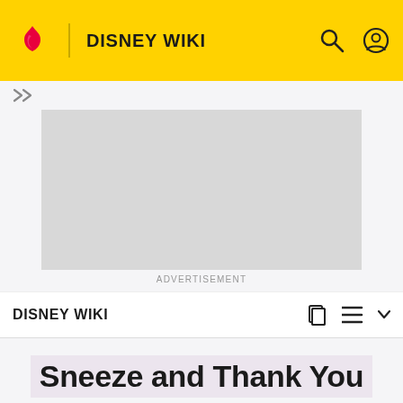DISNEY WIKI
[Figure (other): Advertisement placeholder grey box]
ADVERTISEMENT
DISNEY WIKI
Sneeze and Thank You